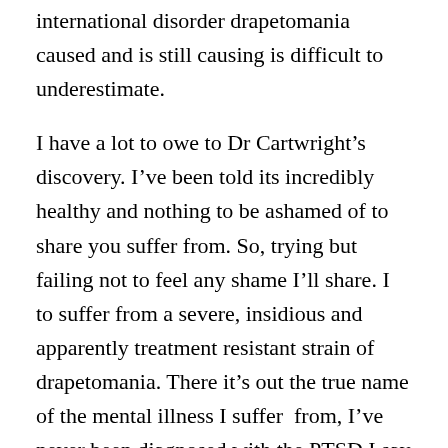international disorder drapetomania caused and is still causing is difficult to underestimate.
I have a lot to owe to Dr Cartwright’s discovery. I’ve been told its incredibly healthy and nothing to be ashamed of to share you suffer from. So, trying but failing not to feel any shame I’ll share. I to suffer from a severe, insidious and apparently treatment resistant strain of drapetomania. There it’s out the true name of the mental illness I suffer  from, I’ve never been diagnosed with the PTSD I say I’ve got. Yes I suffer from other peoples mental illnesses.
Abusers make their victims feel ashamed
Sharing the exact nature of your mental health disorder with the world is getting to be quite trendy especially if